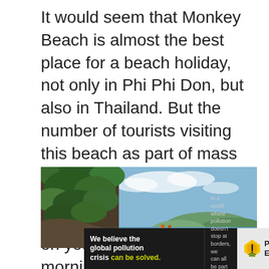It would seem that Monkey Beach is almost the best place for a beach holiday, not only in Phi Phi Don, but also in Thailand. But the number of tourists visiting this beach as part of mass excursions, many times exceeds its capacity. That is why it is better to visit here on your own, and in the morning, until 11:00, while there are no boats with sightseers yet.
[Figure (photo): Scenic photo of Monkey Beach area showing rocky cliffs covered with tropical vegetation on the left, blue sky with light clouds, and distant green hills across the water.]
We believe the global pollution crisis can be solved. In a world where pollution doesn't stop at borders, we can all be part of the solution. JOIN US. PURE EARTH